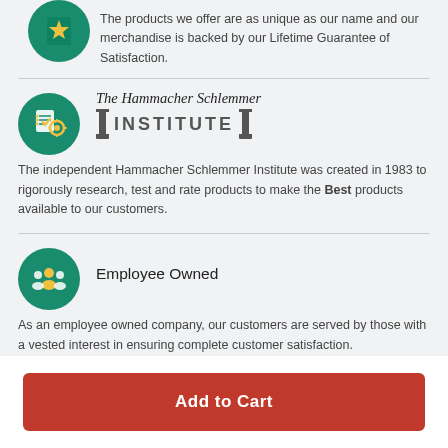The products we offer are as unique as our name and our merchandise is backed by our Lifetime Guarantee of Satisfaction.
[Figure (logo): Hammacher Schlemmer Institute logo with checklist and gear icon on green circle background, text: The Hammacher Schlemmer INSTITUTE]
The independent Hammacher Schlemmer Institute was created in 1983 to rigorously research, test and rate products to make the Best products available to our customers.
Employee Owned
As an employee owned company, our customers are served by those with a vested interest in ensuring complete customer satisfaction.
Add to Cart